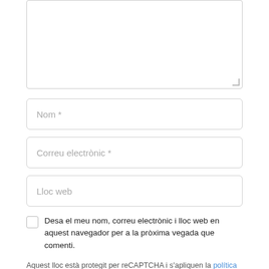[Figure (screenshot): Large textarea input field (comment box) with resize handle at bottom right]
[Figure (screenshot): Text input field with placeholder 'Nom *']
[Figure (screenshot): Text input field with placeholder 'Correu electrònic *']
[Figure (screenshot): Text input field with placeholder 'Lloc web']
Desa el meu nom, correu electrònic i lloc web en aquest navegador per a la pròxima vegada que comenti.
Aquest lloc està protegit per reCAPTCHA i s'apliquen la política